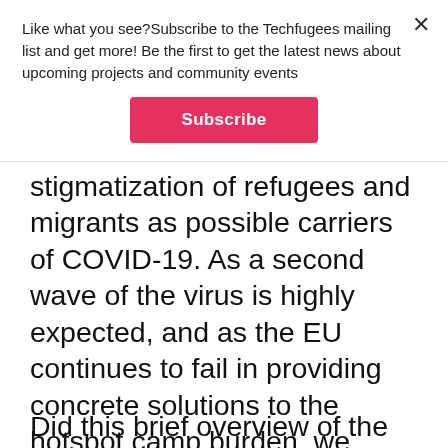Like what you see?Subscribe to the Techfugees mailing list and get more! Be the first to get the latest news about upcoming projects and community events
Subscribe
stigmatization of refugees and migrants as possible carriers of COVID-19. As a second wave of the virus is highly expected, and as the EU continues to fail in providing concrete solutions to the hotspot camp burden, we could only ask ourselves whether this situation would eventually bring the end of hotspot camps.
Did this brief overview of the session